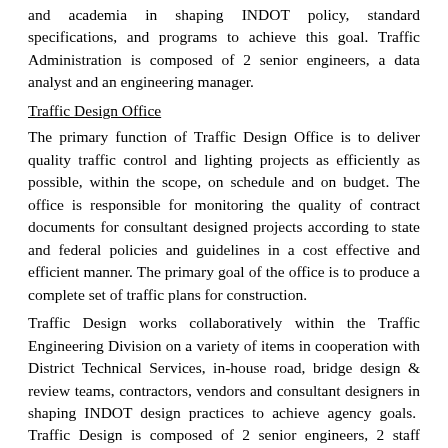and academia in shaping INDOT policy, standard specifications, and programs to achieve this goal. Traffic Administration is composed of 2 senior engineers, a data analyst and an engineering manager.
Traffic Design Office
The primary function of Traffic Design Office is to deliver quality traffic control and lighting projects as efficiently as possible, within the scope, on schedule and on budget. The office is responsible for monitoring the quality of contract documents for consultant designed projects according to state and federal policies and guidelines in a cost effective and efficient manner. The primary goal of the office is to produce a complete set of traffic plans for construction.
Traffic Design works collaboratively within the Traffic Engineering Division on a variety of items in cooperation with District Technical Services, in-house road, bridge design & review teams, contractors, vendors and consultant designers in shaping INDOT design practices to achieve agency goals.  Traffic Design is composed of 2 senior engineers, 2 staff engineers and an engineering manager.